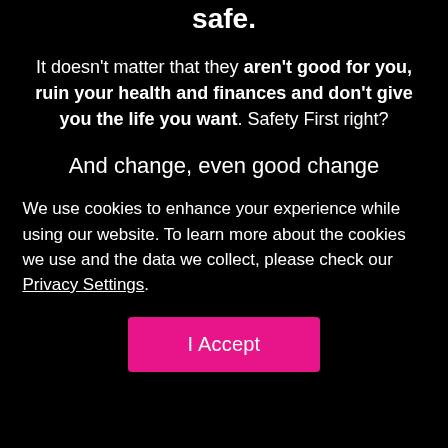safe.
It doesn't matter that they aren't good for you, ruin your health and finances and don't give you the life you want. Safety First right?
And change, even good change
We use cookies to enhance your experience while using our website. To learn more about the cookies we use and the data we collect, please check our Privacy Settings.
I Accept